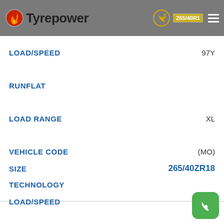Tyrepower
| Field | Value |
| --- | --- |
| LOAD/SPEED | 97Y |
| RUNFLAT |  |
| LOAD RANGE | XL |
| VEHICLE CODE | (MO) |
| TECHNOLOGY |  |
| Field | Value |
| --- | --- |
| SIZE | 265/40ZR18 |
| LOAD/SPEED | 101Y |
| RUNFLAT |  |
| LOAD RANGE | XL |
| VEHICLE CODE |  |
| TECHNOLOGY |  |